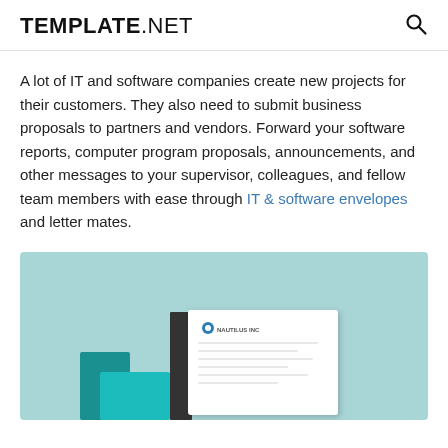TEMPLATE.NET
A lot of IT and software companies create new projects for their customers. They also need to submit business proposals to partners and vendors. Forward your software reports, computer program proposals, announcements, and other messages to your supervisor, colleagues, and fellow team members with ease through IT & software envelopes and letter mates.
[Figure (photo): Product photo showing IT and software branded envelopes and letterhead mockup on a teal/light blue background. A white rectangular document with a small logo reading 'NAUTILUS INC' is visible alongside dark envelope sleeves.]